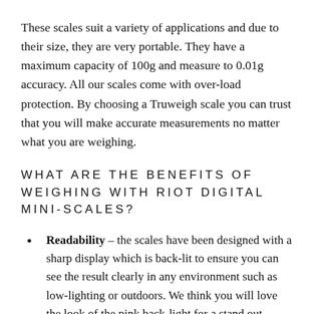These scales suit a variety of applications and due to their size, they are very portable. They have a maximum capacity of 100g and measure to 0.01g accuracy. All our scales come with over-load protection. By choosing a Truweigh scale you can trust that you will make accurate measurements no matter what you are weighing.
WHAT ARE THE BENEFITS OF WEIGHING WITH RIOT DIGITAL MINI-SCALES?
Readability – the scales have been designed with a sharp display which is back-lit to ensure you can see the result clearly in any environment such as low-lighting or outdoors. We think you will love the look of the pink back-light for a stand out aesthetic.